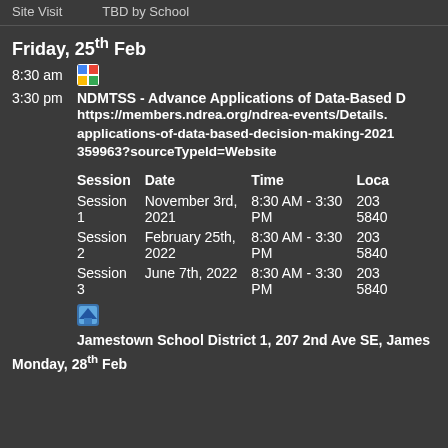Site Visit   TBD by School
Friday, 25th Feb
8:30 am
3:30 pm  NDMTSS - Advance Applications of Data-Based D
https://members.ndrea.org/ndrea-events/Details.
applications-of-data-based-decision-making-2021
359963?sourceTypeId=Website
| Session | Date | Time | Loca |
| --- | --- | --- | --- |
| Session 1 | November 3rd, 2021 | 8:30 AM - 3:30 PM | 203 5840 |
| Session 2 | February 25th, 2022 | 8:30 AM - 3:30 PM | 203 5840 |
| Session 3 | June 7th, 2022 | 8:30 AM - 3:30 PM | 203 5840 |
Jamestown School District 1, 207 2nd Ave SE, James
Monday, 28th Feb